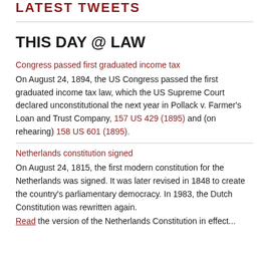LATEST TWEETS
THIS DAY @ LAW
Congress passed first graduated income tax
On August 24, 1894, the US Congress passed the first graduated income tax law, which the US Supreme Court declared unconstitutional the next year in Pollack v. Farmer's Loan and Trust Company, 157 US 429 (1895) and (on rehearing) 158 US 601 (1895).
Netherlands constitution signed
On August 24, 1815, the first modern constitution for the Netherlands was signed. It was later revised in 1848 to create the country's parliamentary democracy. In 1983, the Dutch Constitution was rewritten again.
Read the version of the Netherlands Constitution in effect...